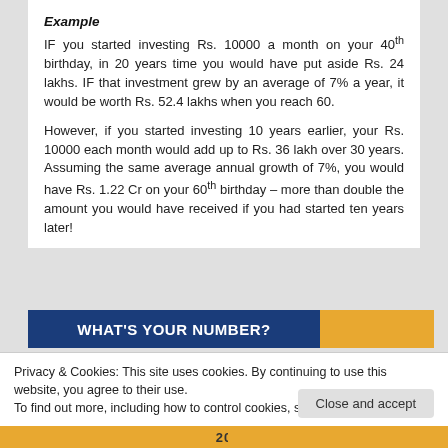Example
IF you started investing Rs. 10000 a month on your 40th birthday, in 20 years time you would have put aside Rs. 24 lakhs. IF that investment grew by an average of 7% a year, it would be worth Rs. 52.4 lakhs when you reach 60.
However, if you started investing 10 years earlier, your Rs. 10000 each month would add up to Rs. 36 lakh over 30 years. Assuming the same average annual growth of 7%, you would have Rs. 1.22 Cr on your 60th birthday – more than double the amount you would have received if you had started ten years later!
[Figure (infographic): Banner with dark blue section reading 'WHAT'S YOUR NUMBER?' on an orange background]
Privacy & Cookies: This site uses cookies. By continuing to use this website, you agree to their use.
To find out more, including how to control cookies, see here: Cookie Policy
Close and accept
[Figure (infographic): Bottom orange strip with number 20]